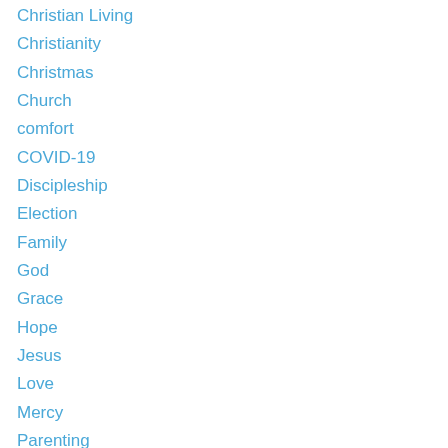Christian Living
Christianity
Christmas
Church
comfort
COVID-19
Discipleship
Election
Family
God
Grace
Hope
Jesus
Love
Mercy
Parenting
Patience
Peace
Religion
Spiritual Life